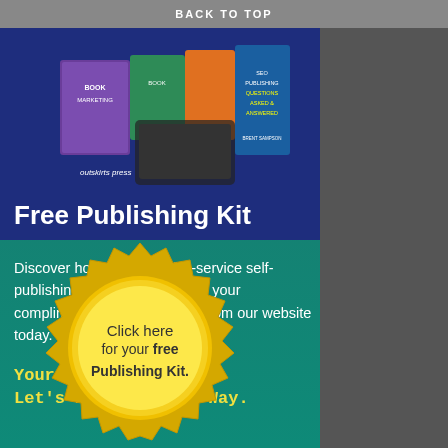BACK TO TOP
[Figure (photo): Stack of publishing books and materials from Outskirts Press including 'SEO Publishing Questions Asked & Answered' by Brent Sampson]
Free Publishing Kit
Discover how rewarding full-service self-publishing can be by receiving your complimentary Publishing Kit from our website today.
Your book matters, Let's Make it Your Way.
[Figure (illustration): Gold seal badge with text: Click here for your free Publishing Kit.]